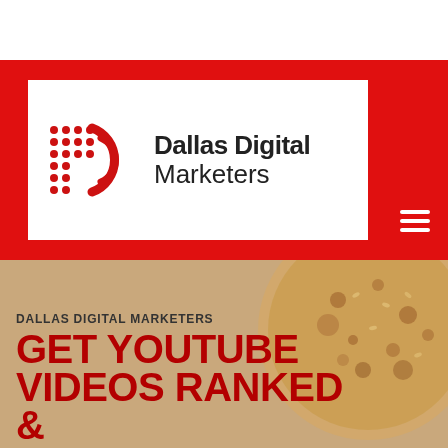[Figure (logo): Dallas Digital Marketers logo — red dot-matrix 'D' icon with red arc, beside bold text 'Dallas Digital Marketers' — inside white box on red header bar]
DALLAS DIGITAL MARKETERS
GET YOUTUBE VIDEOS RANKED &